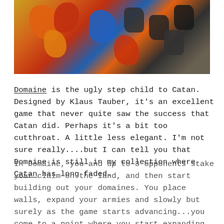[Figure (photo): Photo of colorful board game pieces (orange, red, blue, yellow, and dark/black miniature figures) on a game board, likely from the board game Domaine.]
Domaine is the ugly step child to Catan. Designed by Klaus Tauber, it's an excellent game that never quite saw the success that Catan did. Perhaps it's a bit too cutthroat. A little less elegant. I'm not sure really....but I can tell you that Domaine is still in my collection where Catan has long faded.
In Domaine, you and up to 3 opponents stake your claim on the land, and then start building out your domaines. You place walls, expand your armies and slowly but surely as the game starts advancing...you come to a point where you start expanding your domaines into theirs. And this is where the game is amazingly fun.